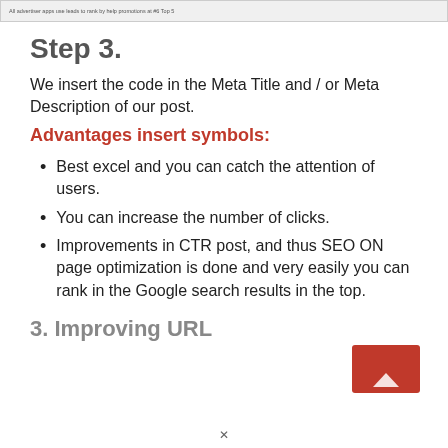[Figure (screenshot): Top portion of a webpage screenshot showing a small line of text]
Step 3.
We insert the code in the Meta Title and / or Meta Description of our post.
Advantages insert symbols:
Best excel and you can catch the attention of users.
You can increase the number of clicks.
Improvements in CTR post, and thus SEO ON page optimization is done and very easily you can rank in the Google search results in the top.
3. Improving URL
[Figure (screenshot): Red button/image in bottom right corner]